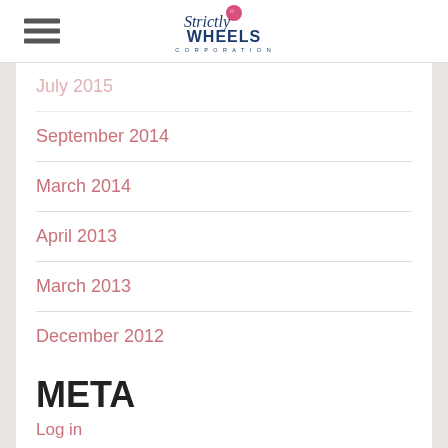Strictly Wheels Corporation
July 2015
September 2014
March 2014
April 2013
March 2013
December 2012
October 2012
September 2012
META
Log in